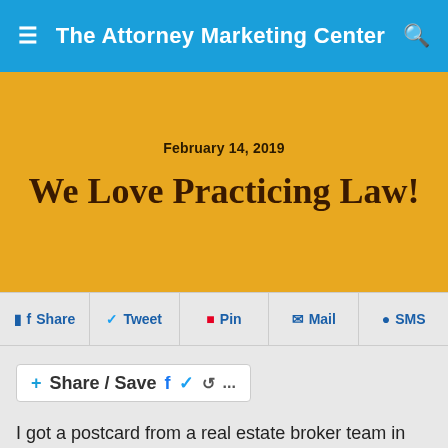The Attorney Marketing Center
February 14, 2019
We Love Practicing Law!
Share   Tweet   Pin   Mail   SMS
[Figure (other): Share / Save social sharing widget with Facebook, Twitter, and share icons]
I got a postcard from a real estate broker team in my area looking for listings. The first thing you read on the postcard is a series of bullet points: